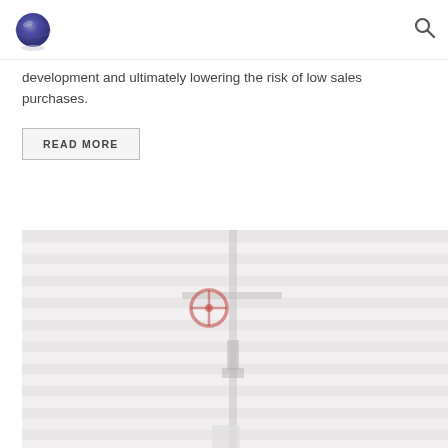Logo and search icon header
development and ultimately lowering the risk of low sales purchases.
READ MORE
[Figure (photo): Faded industrial photo showing pipeline valves and equipment with horizontal lines overlay, muted red and gray tones]